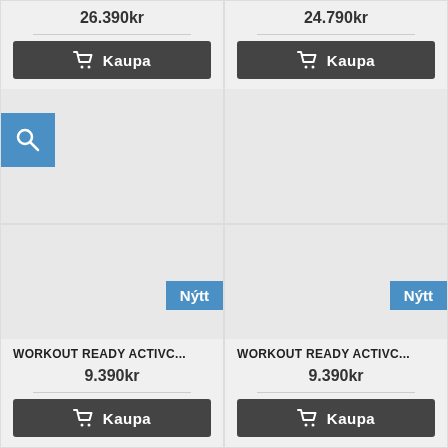26.390kr
Kaupa
24.790kr
Kaupa
Nýtt
Nýtt
WORKOUT READY ACTIVC...
9.390kr
Kaupa
WORKOUT READY ACTIVC...
9.390kr
Kaupa